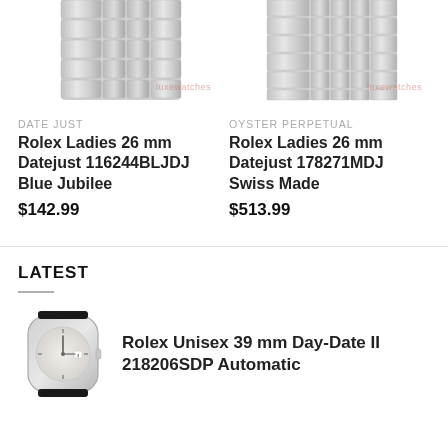[Figure (photo): Rolex watch bracelet/band photo, top portion cropped, silver metal bracelet visible with subtle watermark text 'luxewatches']
DATE JUST
Rolex Ladies 26 mm Datejust 116244BLJDJ Blue Jubilee
$142.99
[Figure (photo): Rolex watch bracelet/band photo, top portion cropped, silver metal bracelet visible with subtle watermark text 'luxewatches']
OYSTER PERPETUAL
Rolex Ladies 26 mm Datejust 178271MDJ Swiss Made
$513.99
LATEST
[Figure (photo): Rolex Unisex round watch face, silver/white dial, metal bracelet, partially shown]
Rolex Unisex 39 mm Day-Date II 218206SDP Automatic